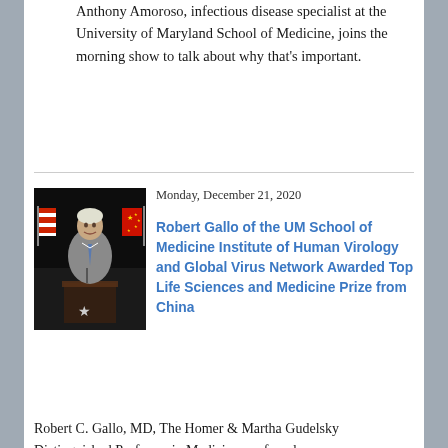Anthony Amoroso, infectious disease specialist at the University of Maryland School of Medicine, joins the morning show to talk about why that's important.
Monday, December 21, 2020
[Figure (photo): Photograph of Robert Gallo speaking at a podium with American and Chinese flags in the background]
Robert Gallo of the UM School of Medicine Institute of Human Virology and Global Virus Network Awarded Top Life Sciences and Medicine Prize from China
Robert C. Gallo, MD, The Homer & Martha Gudelsky Distinguished Professor in Medicine, co-founder